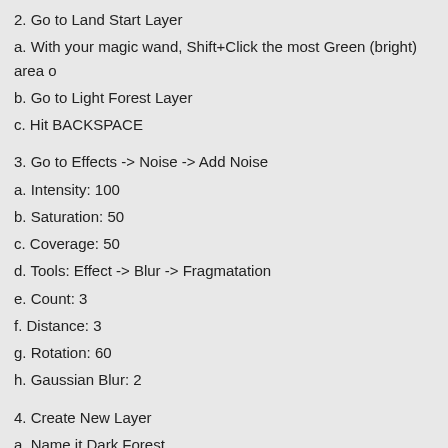2. Go to Land Start Layer
a. With your magic wand, Shift+Click the most Green (bright) area o
b. Go to Light Forest Layer
c. Hit BACKSPACE
3. Go to Effects -> Noise -> Add Noise
a. Intensity: 100
b. Saturation: 50
c. Coverage: 50
d. Tools: Effect -> Blur -> Fragmatation
e. Count: 3
f. Distance: 3
g. Rotation: 60
h. Gaussian Blur: 2
4. Create New Layer
a. Name it Dark Forest
b. Set Primary Color to 1F7F1F
c. Reduce Tolerance between 15% – 20%
I chose 15%
5. Shift+Click the middle of the forest
a. Go to Dark Forest Layer